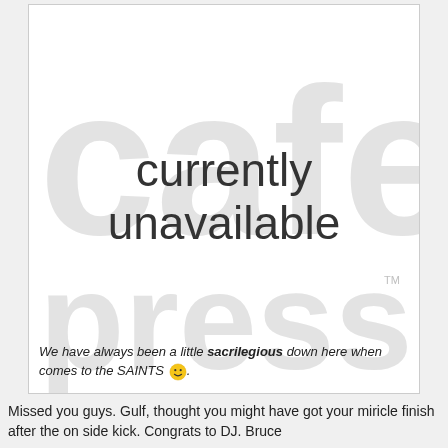[Figure (screenshot): CafePress 'currently unavailable' placeholder image with watermark logo in light gray and bold dark text reading 'currently unavailable']
We have always been a little sacrilegious down here when comes to the SAINTS 🙂.
Missed you guys. Gulf, thought you might have got your miricle finish after the on side kick. Congrats to DJ. Bruce